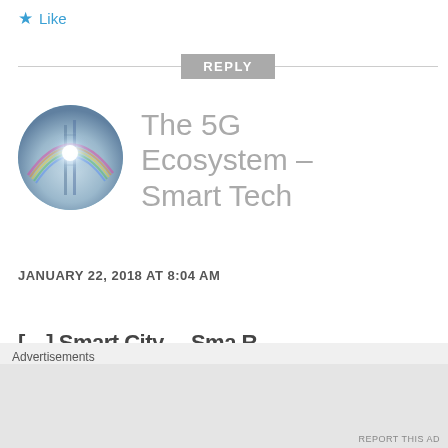★ Like
REPLY
[Figure (photo): Circular avatar photo showing antenna towers with rainbow and bright light flare, blue sky]
The 5G Ecosystem – Smart Tech
JANUARY 22, 2018 AT 8:04 AM
[…] Smart City… Sma R…
Advertisements
REPORT THIS AD